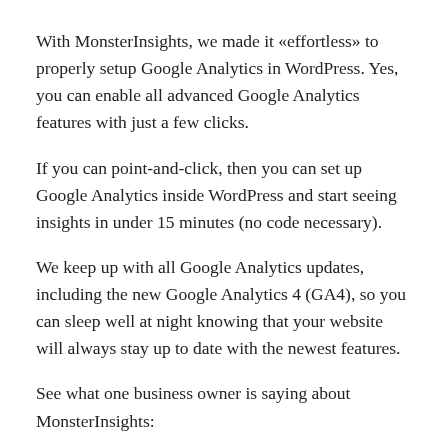With MonsterInsights, we made it «effortless» to properly setup Google Analytics in WordPress. Yes, you can enable all advanced Google Analytics features with just a few clicks.
If you can point-and-click, then you can set up Google Analytics inside WordPress and start seeing insights in under 15 minutes (no code necessary).
We keep up with all Google Analytics updates, including the new Google Analytics 4 (GA4), so you can sleep well at night knowing that your website will always stay up to date with the newest features.
See what one business owner is saying about MonsterInsights:
It just works. Really easy way to insert Google Analytics tracking code and keep it there when switching themes. No need to